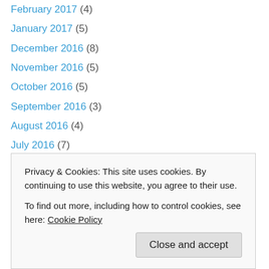February 2017 (4)
January 2017 (5)
December 2016 (8)
November 2016 (5)
October 2016 (5)
September 2016 (3)
August 2016 (4)
July 2016 (7)
June 2016 (7)
May 2016 (6)
April 2016 (8)
March 2016 (5)
February 2016 (7)
January 2016 (8)
July 2015 (9)
Privacy & Cookies: This site uses cookies. By continuing to use this website, you agree to their use. To find out more, including how to control cookies, see here: Cookie Policy